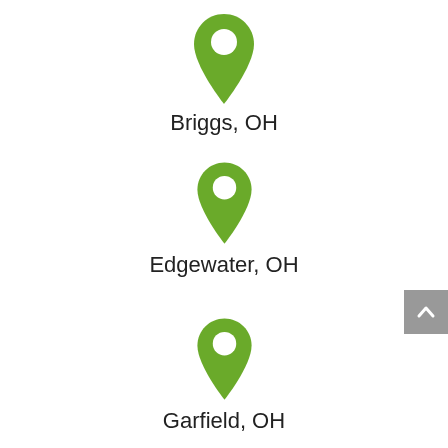[Figure (illustration): Green map pin / location marker icon for Briggs, OH]
Briggs, OH
[Figure (illustration): Green map pin / location marker icon for Edgewater, OH]
Edgewater, OH
[Figure (illustration): Green map pin / location marker icon for Garfield, OH]
Garfield, OH